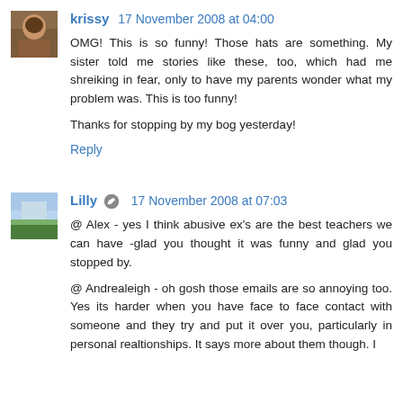krissy  17 November 2008 at 04:00
OMG! This is so funny! Those hats are something. My sister told me stories like these, too, which had me shreiking in fear, only to have my parents wonder what my problem was. This is too funny!

Thanks for stopping by my bog yesterday!

Reply
Lilly  17 November 2008 at 07:03
@ Alex - yes I think abusive ex's are the best teachers we can have -glad you thought it was funny and glad you stopped by.

@ Andrealeigh - oh gosh those emails are so annoying too. Yes its harder when you have face to face contact with someone and they try and put it over you, particularly in personal realtionships. It says more about them though. I